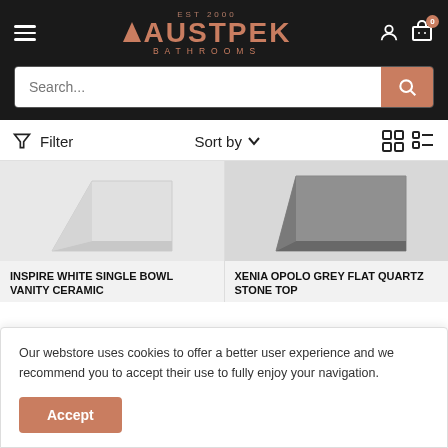AUSTPEK BATHROOMS EST 2000
Search...
Filter  Sort by
[Figure (screenshot): Product image of white single bowl vanity ceramic, partially visible, top-cropped]
INSPIRE WHITE SINGLE BOWL VANITY CERAMIC
[Figure (screenshot): Product image of grey flat quartz stone top, partially visible, top-cropped]
XENIA OPOLO GREY FLAT QUARTZ STONE TOP
Our webstore uses cookies to offer a better user experience and we recommend you to accept their use to fully enjoy your navigation.
Accept